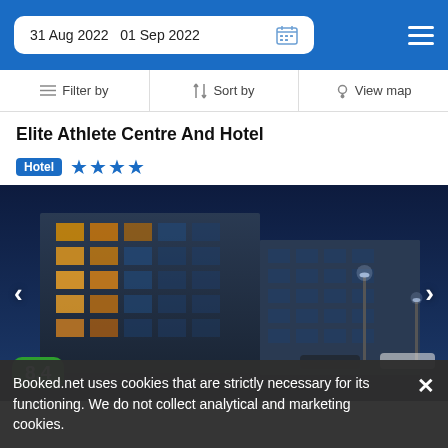31 Aug 2022   01 Sep 2022
Filter by   Sort by   View map
Elite Athlete Centre And Hotel
Hotel ★★★★
[Figure (photo): Night exterior photo of Elite Athlete Centre And Hotel – a multi-story modern building with illuminated windows against a dark blue sky. Score badge 8.4 visible in bottom-left corner.]
Booked.net uses cookies that are strictly necessary for its functioning. We do not collect analytical and marketing cookies.